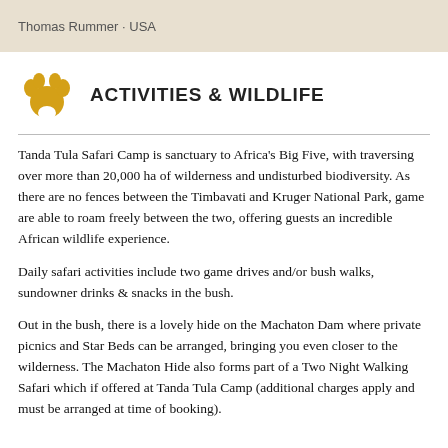Thomas Rummer · USA
ACTIVITIES & WILDLIFE
Tanda Tula Safari Camp is sanctuary to Africa's Big Five, with traversing over more than 20,000 ha of wilderness and undisturbed biodiversity. As there are no fences between the Timbavati and Kruger National Park, game are able to roam freely between the two, offering guests an incredible African wildlife experience.
Daily safari activities include two game drives and/or bush walks, sundowner drinks & snacks in the bush.
Out in the bush, there is a lovely hide on the Machaton Dam where private picnics and Star Beds can be arranged, bringing you even closer to the wilderness. The Machaton Hide also forms part of a Two Night Walking Safari which if offered at Tanda Tula Camp (additional charges apply and must be arranged at time of booking).